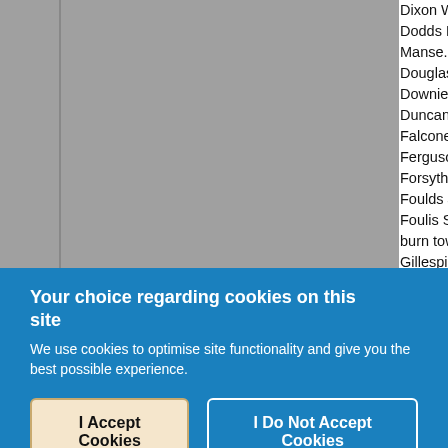[Figure (screenshot): Partial screenshot of a digitized directory listing showing names and addresses, partially obscured by gray image columns on the left. Visible text includes entries for Dixon William, Dodds Rev. James D.D., Douglas Thomas, Downie Hay, Duncan John, Falconer Robert, Ferguson Rev. James, Forsyth Robert, Foulds James-L., Foulis Sir William Liston-, Gillespie Mrs., Girdwood Misses, Harper Henry.]
Your choice regarding cookies on this site
We use cookies to optimise site functionality and give you the best possible experience.
I Accept Cookies
I Do Not Accept Cookies
Settings